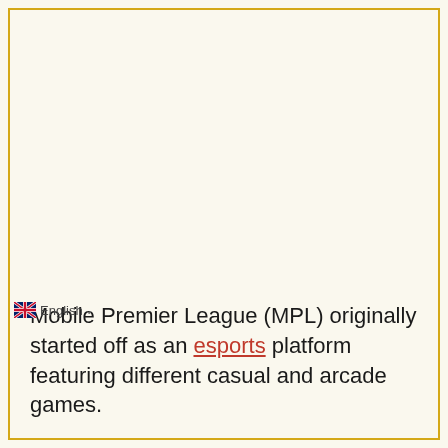Mobile Premier League (MPL) originally started off as an esports platform featuring different casual and arcade games.